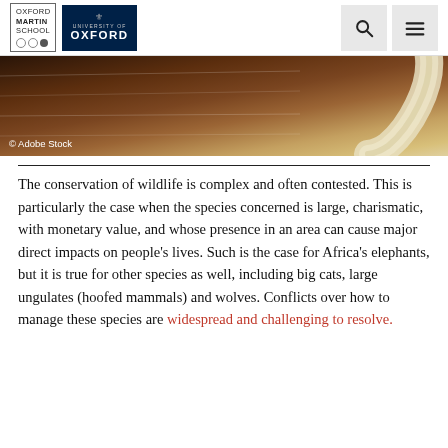Oxford Martin School | University of Oxford
[Figure (photo): Close-up photograph of what appears to be a tusk or horn on a dark wooden surface, with '© Adobe Stock' watermark]
The conservation of wildlife is complex and often contested. This is particularly the case when the species concerned is large, charismatic, with monetary value, and whose presence in an area can cause major direct impacts on people's lives. Such is the case for Africa's elephants, but it is true for other species as well, including big cats, large ungulates (hoofed mammals) and wolves. Conflicts over how to manage these species are widespread and challenging to resolve.